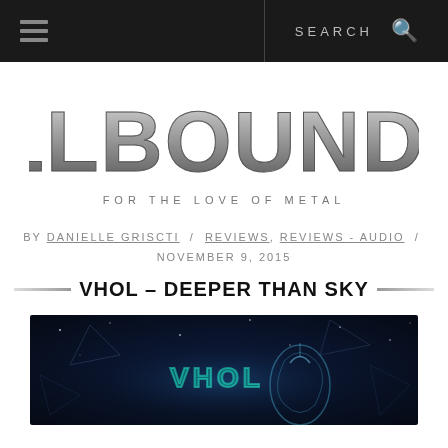SEARCH
[Figure (logo): HELLBOUND.CA logo in metallic silver brushed text with spiky stylized lettering]
FOR THE LOVE OF METAL
BY DANIELLE GRISCTI / REVIEWS, REVIEWS - AUDIO / NOVEMBER 9, 2015
VHOL – DEEPER THAN SKY
[Figure (illustration): Album art for VHOL – Deeper Than Sky showing dark cosmic artwork with geometric shapes and a glowing figure against a starfield background]